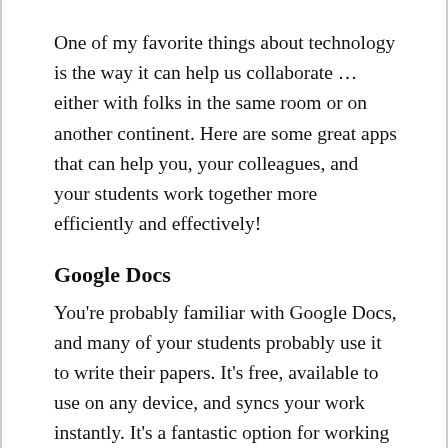One of my favorite things about technology is the way it can help us collaborate … either with folks in the same room or on another continent. Here are some great apps that can help you, your colleagues, and your students work together more efficiently and effectively!
Google Docs
You're probably familiar with Google Docs, and many of your students probably use it to write their papers. It's free, available to use on any device, and syncs your work instantly. It's a fantastic option for working with a big group, and you can require collaborators to sign in or allow anyone to collaborate.